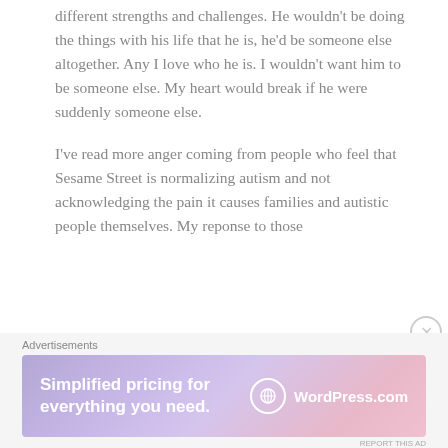different strengths and challenges. He wouldn't be doing the things with his life that he is, he'd be someone else altogether. Any I love who he is. I wouldn't want him to be someone else. My heart would break if he were suddenly someone else.
I've read more anger coming from people who feel that Sesame Street is normalizing autism and not acknowledging the pain it causes families and autistic people themselves. My reponse to those
Advertisements
[Figure (other): WordPress.com advertisement banner with gradient purple-pink background. Text reads 'Simplified pricing for everything you need.' with WordPress.com logo on the right.]